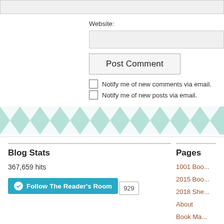Website:
Post Comment
Notify me of new comments via email.
Notify me of new posts via email.
[Figure (illustration): Teal/mint chevron zigzag decorative banner pattern]
Blog Stats
367,659 hits
Follow The Reader's Room  929
Pages
1001 Boo...
2015 Boo...
2018 She...
About
Book Ma...
Book Re...